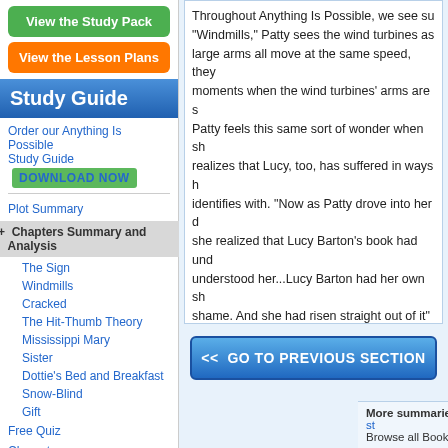[Figure (other): Green 'View the Study Pack' button]
[Figure (other): Orange 'View the Lesson Plans' button]
Study Guide
Order our Anything Is Possible Study Guide DOWNLOAD NOW
Plot Summary
+ Chapters Summary and Analysis
The Sign
Windmills
Cracked
The Hit-Thumb Theory
Mississippi Mary
Sister
Dottie's Bed and Breakfast
Snow-Blind
Gift
Free Quiz
Characters
Symbols and Symbolism
Throughout Anything Is Possible, we see su... "Windmills," Patty sees the wind turbines as large arms all move at the same speed, they moments when the wind turbines' arms are s Patty feels this same sort of wonder when sh realizes that Lucy, too, has suffered in ways h identifies with. "Now as Patty drove into her d she realized that Lucy Barton's book had und understood her...Lucy Barton had her own sh shame. And she had risen straight out of it" ( suffering and shame...
(read more)
This section contains 2,868 words
(approx. 8 pages at 400 words per page)
View a FREE sample
[Figure (other): Blue '<< GO TO PREVIOUS SECTION' button]
More summaries and resources for teaching or st Browse all BookRags Study Guides.